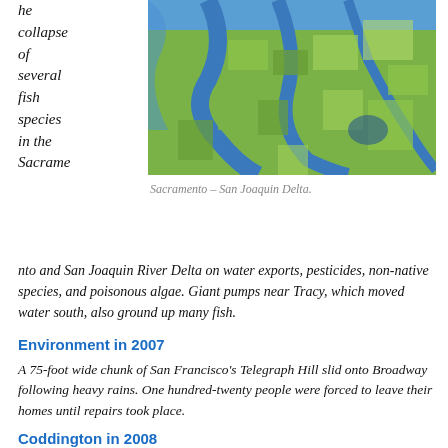he collapse of several fish species in the Sacramento and San Joaquin River Delta on water exports, pesticides, non-native species, and poisonous algae. Giant pumps near Tracy, which moved water south, also ground up many fish.
[Figure (photo): Aerial photograph of the Sacramento – San Joaquin Delta showing winding river channels, levee islands, and agricultural fields.]
Sacramento – San Joaquin Delta.
Environment in 2007
A 75-foot wide chunk of San Francisco's Telegraph Hill slid onto Broadway following heavy rains. One hundred-twenty people were forced to leave their homes until repairs took place.
Coddington in 2008